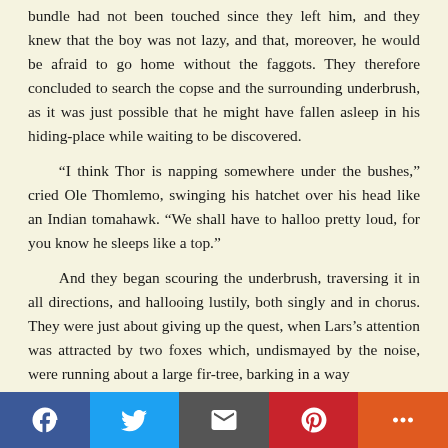bundle had not been touched since they left him, and they knew that the boy was not lazy, and that, moreover, he would be afraid to go home without the faggots. They therefore concluded to search the copse and the surrounding underbrush, as it was just possible that he might have fallen asleep in his hiding-place while waiting to be discovered.
“I think Thor is napping somewhere under the bushes,” cried Ole Thomlemo, swinging his hatchet over his head like an Indian tomahawk. “We shall have to halloo pretty loud, for you know he sleeps like a top.”
And they began scouring the underbrush, traversing it in all directions, and hallooing lustily, both singly and in chorus. They were just about giving up the quest, when Lars’s attention was attracted by two foxes which, undismayed by the noise, were running about a large fir-tree, barking in a way
[Figure (other): Social sharing bar at bottom with Facebook, Twitter, Email, Pinterest, and More buttons]